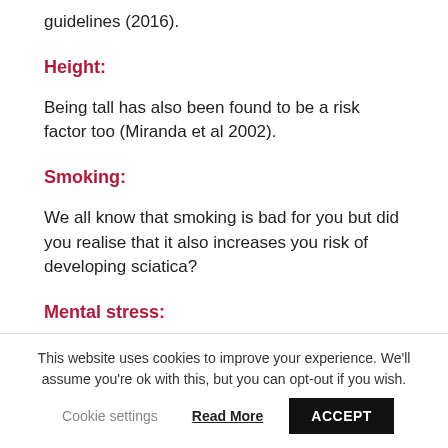guidelines (2016).
Height:
Being tall has also been found to be a risk factor too (Miranda et al 2002).
Smoking:
We all know that smoking is bad for you but did you realise that it also increases you risk of developing sciatica?
Mental stress:
This website uses cookies to improve your experience. We'll assume you're ok with this, but you can opt-out if you wish.
Cookie settings  Read More  ACCEPT